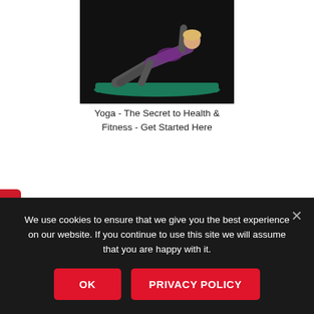[Figure (photo): Person doing a yoga side plank pose on a green mat against a dark background]
Yoga - The Secret to Health & Fitness - Get Started Here
tegories
E Weight Loss Tips Here!
We use cookies to ensure that we give you the best experience on our website. If you continue to use this site we will assume that you are happy with it.
OK
PRIVACY POLICY